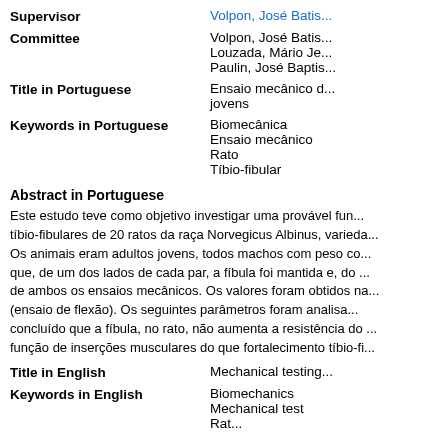Supervisor: Volpon, José Batis...
Committee: Volpon, José Batis... Louzada, Mário Je... Paulin, José Baptis...
Title in Portuguese: Ensaio mecânico d... jovens
Keywords in Portuguese: Biomecânica; Ensaio mecânico; Rato; Tíbio-fibular
Abstract in Portuguese
Este estudo teve como objetivo investigar uma provável fun... tíbio-fibulares de 20 ratos da raça Norvegicus Albinus, varieda... Os animais eram adultos jovens, todos machos com peso co... que, de um dos lados de cada par, a fíbula foi mantida e, do ... de ambos os ensaios mecânicos. Os valores foram obtidos na... (ensaio de flexão). Os seguintes parâmetros foram analisa... concluído que a fíbula, no rato, não aumenta a resistência do ... função de inserções musculares do que fortalecimento tíbio-fi...
Title in English: Mechanical testing...
Keywords in English: Biomechanics; Mechanical test; Rat...